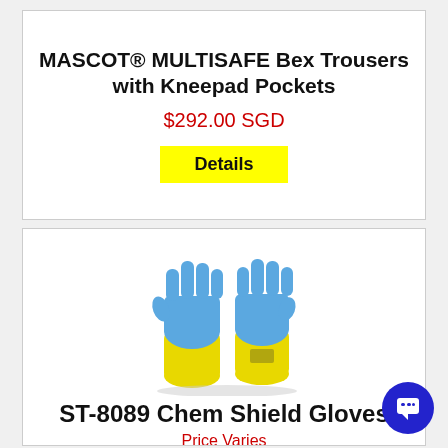MASCOT® MULTISAFE Bex Trousers with Kneepad Pockets
$292.00 SGD
Details
[Figure (photo): Two chemical protection gloves (blue top, yellow bottom) — ST-8089 Chem Shield Gloves]
ST-8089 Chem Shield Gloves
Price Varies